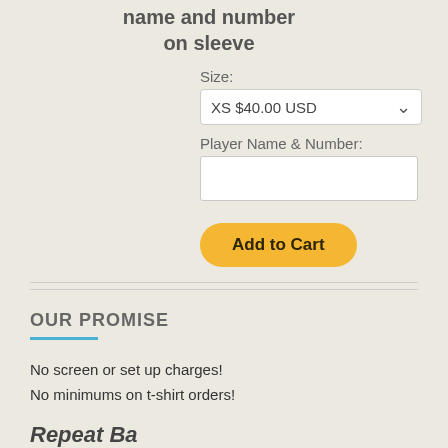name and number on sleeve
Size:
XS $40.00 USD
Player Name & Number:
Add to Cart
OUR PROMISE
No screen or set up charges!
No minimums on t-shirt orders!